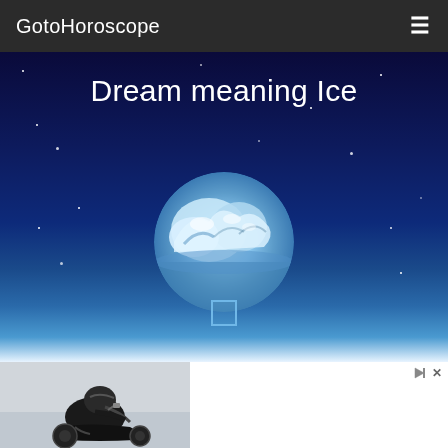GotoHoroscope
Dream meaning Ice
[Figure (illustration): Night sky hero image with circular ice photo in center and a small square below it. Dark blue starry background fading to light blue-white at bottom.]
[Figure (photo): Advertisement: NADA Book Retail Value on your trade when you buy a new Harley OR Get a... Left side shows motorcyclist on bike.]